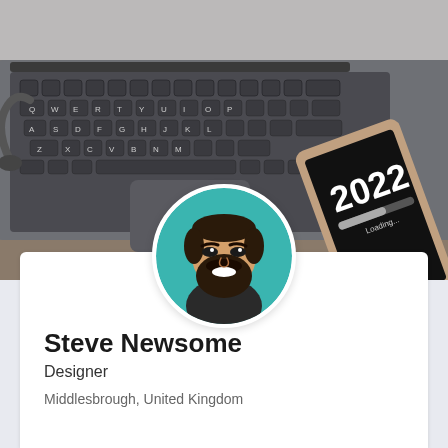[Figure (photo): Banner photo showing a MacBook keyboard with keys visible (Q W E R T Y etc.), a smartphone displaying '2022' with a loading bar, headphones, and other tech accessories on a wooden surface. Viewed from above.]
[Figure (illustration): Circular avatar/profile picture showing an illustrated/cartoon style bearded man with dark hair, smiling, wearing a dark top, on a teal/turquoise background.]
Steve Newsome
Designer
Middlesbrough, United Kingdom